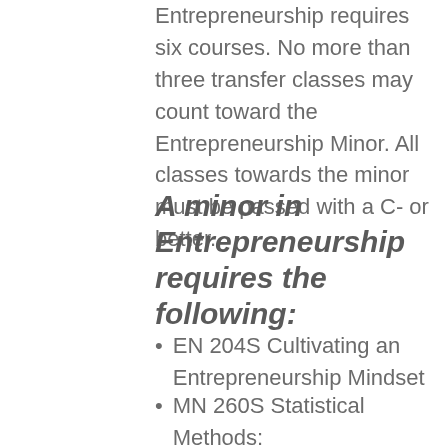Entrepreneurship requires six courses. No more than three transfer classes may count toward the Entrepreneurship Minor. All classes towards the minor must be passed with a C- or better.
A minor in Entrepreneurship requires the following:
EN 204S Cultivating an Entrepreneurship Mindset
MN 260S Statistical Methods: Management and Economics (or equivalent statistics course)
MN 272S Management Information Systems
EN 320 Principles of